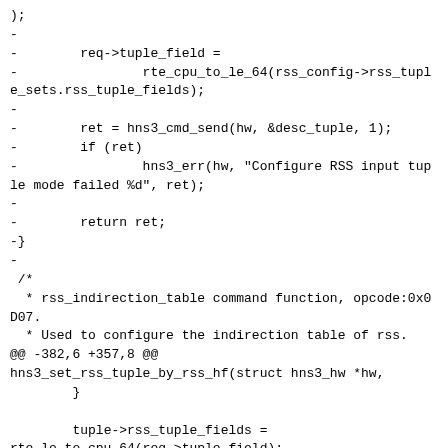);
-
-        req->tuple_field =
-                rte_cpu_to_le_64(rss_config->rss_tuple_sets.rss_tuple_fields);
-
-        ret = hns3_cmd_send(hw, &desc_tuple, 1);
-        if (ret)
-                hns3_err(hw, "Configure RSS input tuple mode failed %d", ret);
-
-        return ret;
-}
-
 /*
  * rss_indirection_table command function, opcode:0x0D07.
  * Used to configure the indirection table of rss.
 @@ -382,6 +357,8 @@
hns3_set_rss_tuple_by_rss_hf(struct hns3_hw *hw,
        }

        tuple->rss_tuple_fields =
rte_le_to_cpu_64(req->tuple_field);
+        /* Update supported flow types when set tuple success */
+        hw->rss_info.conf.types = rss_hf;

        return 0;
 }